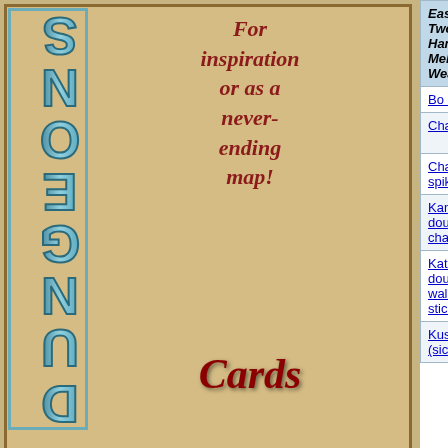[Figure (illustration): Dungeon Cards advertisement showing vertical 'Dungeons' text in teal letters, red script 'Cards' text, 'For inspiration or as a never-ending map!' in red italic text, and a black-and-white city/dungeon map illustration below. A second partial ad appears at bottom.]
| (Eastern) Two-Handed Melee Weapons | Cost | Dmg (S) | D |
| --- | --- | --- | --- |
| Bo staff | 1 gp | 1d4/1d4 | 1d |
| Chain spear | 15 gp | 1d4/1d4 | 1d |
| Chain, spiked | 25 gp | 1d6 |  |
| Kama, double-chained | 8 gp | 1d4/1d4 | 1d |
| Katana, double walking stick | 50 gp | 1d4 |  |
| Kusarigama (sickle and | 12 gp | 1d2/1d4 | 1d |